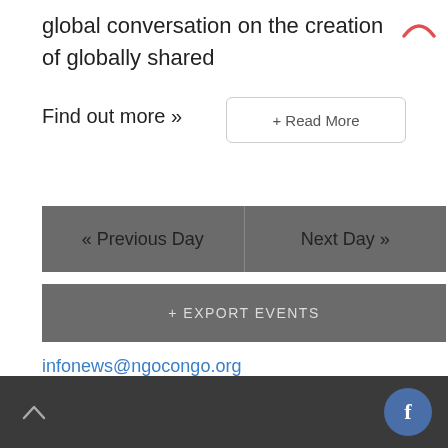global conversation on the creation of globally shared
Find out more »
+ Read More
« Previous Day
Next Day »
+ EXPORT EVENTS
infonews@ngocongo.org